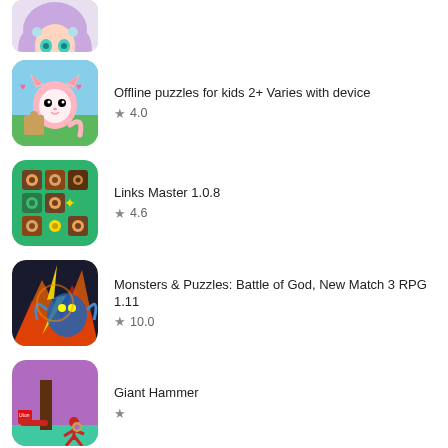[Figure (screenshot): Partial app icon at top (anime girl with teal eyes and purple hair)]
[Figure (screenshot): App icon: pink cat puzzle game]
Offline puzzles for kids 2+ Varies with device
★ 4.0
[Figure (screenshot): App icon: Links Master (donuts/cookies on green background)]
Links Master 1.0.8
★ 4.6
[Figure (screenshot): App icon: Monsters & Puzzles battle scene]
Monsters & Puzzles: Battle of God, New Match 3 RPG 1.11
★ 10.0
[Figure (screenshot): App icon: Giant Hammer game with red figure and hammer]
Giant Hammer
★